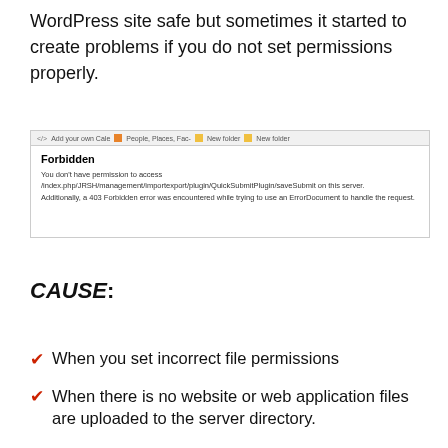WordPress site safe but sometimes it started to create problems if you do not set permissions properly.
[Figure (screenshot): Browser screenshot showing a 403 Forbidden error page with browser bookmarks bar. The page title is 'Forbidden' in bold, followed by text: 'You don't have permission to access /index.php/JRSH/management/importexport/plugin/QuickSubmitPlugin/saveSubmit on this server. Additionally, a 403 Forbidden error was encountered while trying to use an ErrorDocument to handle the request.']
CAUSE:
When you set incorrect file permissions
When there is no website or web application files are uploaded to the server directory.